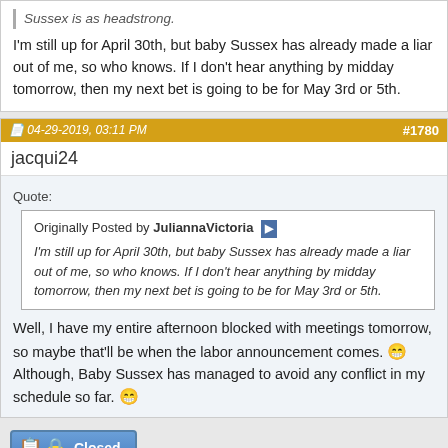Sussex is as headstrong. I'm still up for April 30th, but baby Sussex has already made a liar out of me, so who knows. If I don't hear anything by midday tomorrow, then my next bet is going to be for May 3rd or 5th.
04-29-2019, 03:11 PM   #1780
jacqui24
Quote: Originally Posted by JuliannaVictoria — I'm still up for April 30th, but baby Sussex has already made a liar out of me, so who knows. If I don't hear anything by midday tomorrow, then my next bet is going to be for May 3rd or 5th.
Well, I have my entire afternoon blocked with meetings tomorrow, so maybe that'll be when the labor announcement comes. Although, Baby Sussex has managed to avoid any conflict in my schedule so far.
[Figure (other): Closed button with lock icon in blue gradient style]